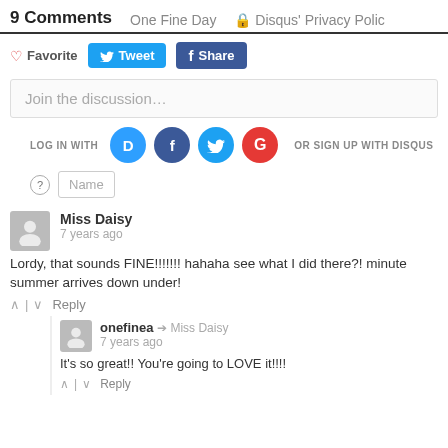9 Comments   One Fine Day   Disqus' Privacy Polic
♡ Favorite  Tweet  f Share
Join the discussion...
LOG IN WITH   OR SIGN UP WITH DISQUS ?   Name
Miss Daisy
7 years ago
Lordy, that sounds FINE!!!!!!! hahaha see what I did there?! minute summer arrives down under!
^ | v  Reply
onefinea → Miss Daisy
7 years ago
It's so great!! You're going to LOVE it!!!!
^ | v  Reply